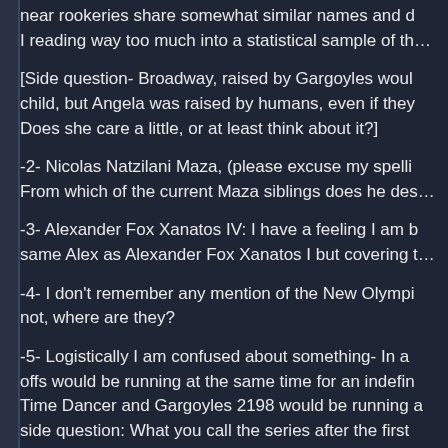near rookeries share somewhat similar names and d… I reading way too much into a statistical sample of th…
[Side question- Broadway, raised by Gargoyles woul… child, but Angela was raised by humans, even if they… Does she care a little, or at least think about it?]
-2- Nicolas Natzilani Maza, (please excuse my spelli… From which of the current Maza siblings does he des…
-3- Alexander Fox Xanatos IV: I have a feeling I am b… same Alex as Alexander Fox Xanatos I but covering t…
-4- I don't remember any mention of the New Olympi… not, where are they?
-5- Logistically I am confused about something- In a… offs would be running at the same time for an indefin… Time Dancer and Gargoyles 2198 would be running a… side question: What you call the series after the first … wouldn't be a problem- Timedancer Brooklyn would b… future Brooklyn and we just wont see him describing … happened yet in Time Dancer to people in 2198.